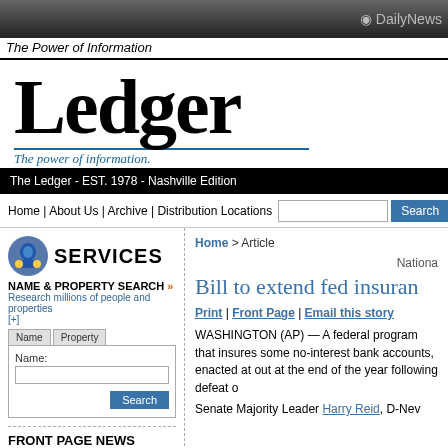DailyNews
The Power of Information
Ledger
The power of information.
The Ledger - EST. 1978 - Nashville Edition
Home | About Us | Archive | Distribution Locations
SERVICES
NAME & PROPERTY SEARCH »
Research millions of people and properties [+]
FRONT PAGE NEWS
Home > Article
National
Bill to extend fed insuran
Print | Front Page | Email this story
WASHINGTON (AP) — A federal program that insures some no-interest bank accounts, enacted at out at the end of the year following defeat c
Senate Majority Leader Harry Reid, D-Nev